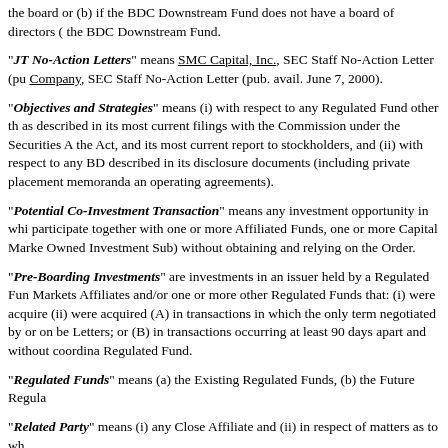the board or (b) if the BDC Downstream Fund does not have a board of directors ( the BDC Downstream Fund.
"JT No-Action Letters" means SMC Capital, Inc., SEC Staff No-Action Letter (pu Company, SEC Staff No-Action Letter (pub. avail. June 7, 2000).
"Objectives and Strategies" means (i) with respect to any Regulated Fund other th as described in its most current filings with the Commission under the Securities A the Act, and its most current report to stockholders, and (ii) with respect to any BD described in its disclosure documents (including private placement memoranda an operating agreements).
"Potential Co-Investment Transaction" means any investment opportunity in whi participate together with one or more Affiliated Funds, one or more Capital Marke Owned Investment Sub) without obtaining and relying on the Order.
"Pre-Boarding Investments" are investments in an issuer held by a Regulated Fun Markets Affiliates and/or one or more other Regulated Funds that: (i) were acquire (ii) were acquired (A) in transactions in which the only term negotiated by or on be Letters; or (B) in transactions occurring at least 90 days apart and without coordina Regulated Fund.
"Regulated Funds" means (a) the Existing Regulated Funds, (b) the Future Regula
"Related Party" means (i) any Close Affiliate and (ii) in respect of matters as to wh
"Remote Affiliate" means any person described in Section 57(e) in respect of any thereof as a BDC for this purpose) and any limited partner holding 5% or more of a